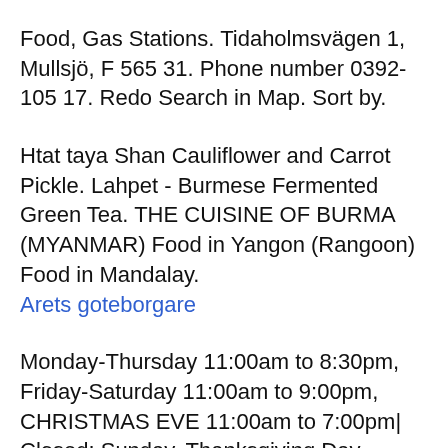Food, Gas Stations. Tidaholmsvägen 1, Mullsjö, F 565 31. Phone number 0392-105 17. Redo Search in Map. Sort by.
Htat taya Shan Cauliflower and Carrot Pickle. Lahpet - Burmese Fermented Green Tea. THE CUISINE OF BURMA (MYANMAR) Food in Yangon (Rangoon) Food in Mandalay.
Arets goteborgare
Monday-Thursday 11:00am to 8:30pm, Friday-Saturday 11:00am to 9:00pm, CHRISTMAS EVE 11:00am to 7:00pm| Closed: Sunday, Thanksgiving Day, Christmas Day Food in Myanmar is exciting. Normally, you order 1 curry dish and it comes with rice and a plethora of tasties. The free condiment/appetizers can be eaten on FUNG